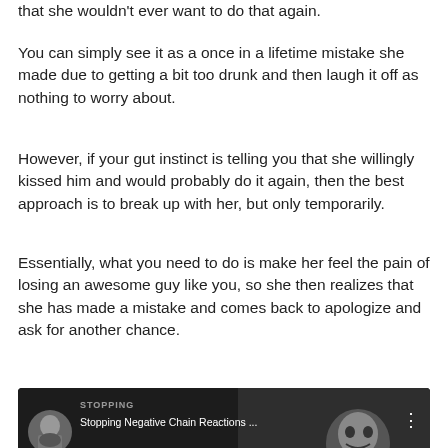that she wouldn't ever want to do that again.
You can simply see it as a once in a lifetime mistake she made due to getting a bit too drunk and then laugh it off as nothing to worry about.
However, if your gut instinct is telling you that she willingly kissed him and would probably do it again, then the best approach is to break up with her, but only temporarily.
Essentially, what you need to do is make her feel the pain of losing an awesome guy like you, so she then realizes that she has made a mistake and comes back to apologize and ask for another chance.
[Figure (screenshot): YouTube video thumbnail for 'Stopping Negative Chain Reactions ...' with large text NEGATIVE CHAIN on dark background and a smiling man with a woman visible on the right side.]